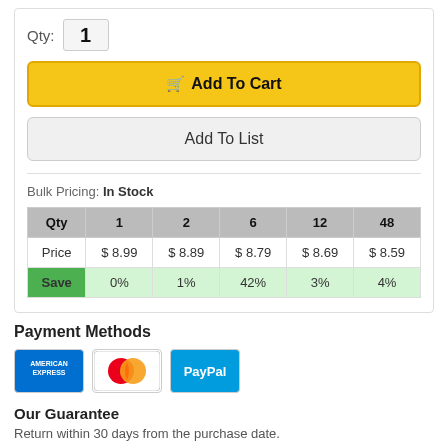Qty: 1
Add To Cart
Add To List
Bulk Pricing: In Stock
| Qty | 1 | 2 | 6 | 12 | 48 |
| --- | --- | --- | --- | --- | --- |
| Price | $8.99 | $8.89 | $8.79 | $8.69 | $8.59 |
| Save | 0% | 1% | 42% | 3% | 4% |
Payment Methods
[Figure (logo): American Express, MasterCard, and PayPal payment method logos]
Our Guarantee
Return within 30 days from the purchase date.
Shop72 - High Quality US State Flags - Iowa Flag - 3x5' - Polyester